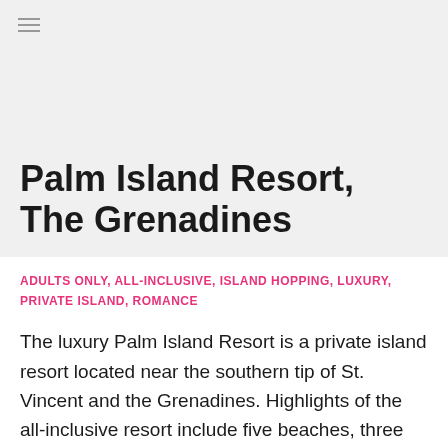[Figure (photo): Light gray placeholder image at the top of the page representing a resort photo]
Palm Island Resort, The Grenadines
ADULTS ONLY, ALL-INCLUSIVE, ISLAND HOPPING, LUXURY, PRIVATE ISLAND, ROMANCE
The luxury Palm Island Resort is a private island resort located near the southern tip of St. Vincent and the Grenadines. Highlights of the all-inclusive resort include five beaches, three hiking trails, a lagoon-style pool, and great diving and snorkeling opportunities …